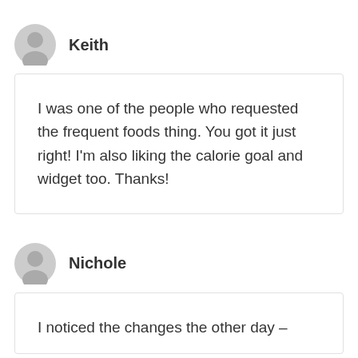Keith
I was one of the people who requested the frequent foods thing. You got it just right! I'm also liking the calorie goal and widget too. Thanks!
Nichole
I noticed the changes the other day –